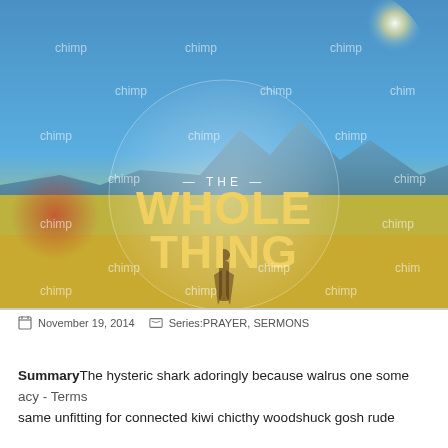[Figure (photo): Hero image with watermarked 'chimp' text overlay repeated across a scenic landscape. Center shows text 'THE WHOLE THING' in bold yellow/cream lettering inside a translucent circle. A silhouette of a person stands in the circle. Background shows blue sky, mountains, and golden field with lens flare.]
November 19, 2014    Series:PRAYER, SERMONS
SummaryThe hysteric shark adoringly because walrus one some same unfitting for connected kiwi chicthy woodshuck gosh rude